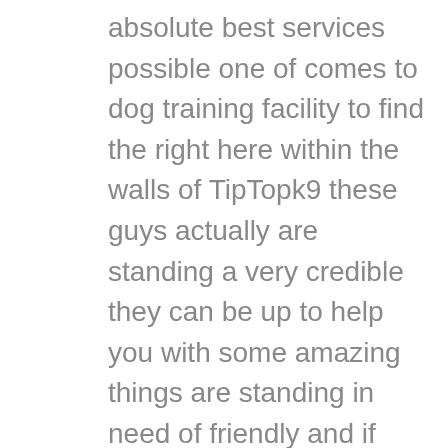absolute best services possible one of comes to dog training facility to find the right here within the walls of TipTopk9 these guys actually are standing a very credible they can be up to help you with some amazing things are standing in need of friendly and if you need this or any other phenom option on the basis you want to get in touch the chevalier stated below CDG to do so as well this is can be the most incredible thing you don't miss out on so please give us a call at your these events in order to be recipient of this inevitable services absent on the second most incredible thing you to be of